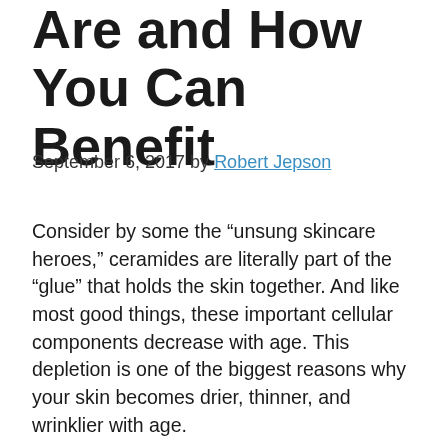Are and How You Can Benefit
September 6, 2017 by Robert Jepson
Consider by some the “unsung skincare heroes,” ceramides are literally part of the “glue” that holds the skin together. And like most good things, these important cellular components decrease with age. This depletion is one of the biggest reasons why your skin becomes drier, thinner, and wrinklier with age.